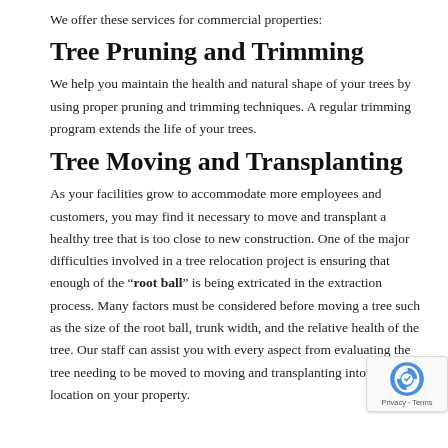We offer these services for commercial properties:
Tree Pruning and Trimming
We help you maintain the health and natural shape of your trees by using proper pruning and trimming techniques. A regular trimming program extends the life of your trees.
Tree Moving and Transplanting
As your facilities grow to accommodate more employees and customers, you may find it necessary to move and transplant a healthy tree that is too close to new construction. One of the major difficulties involved in a tree relocation project is ensuring that enough of the “root ball” is being extricated in the extraction process. Many factors must be considered before moving a tree such as the size of the root ball, trunk width, and the relative health of the tree. Our staff can assist you with every aspect from evaluating the tree needing to be moved to moving and transplanting into a new location on your property.